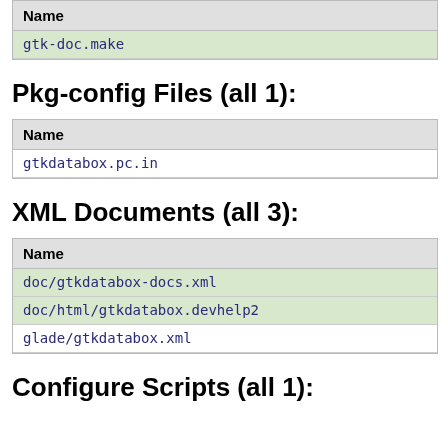| Name |
| --- |
| gtk-doc.make |
Pkg-config Files (all 1):
| Name |
| --- |
| gtkdatabox.pc.in |
XML Documents (all 3):
| Name |
| --- |
| doc/gtkdatabox-docs.xml |
| doc/html/gtkdatabox.devhelp2 |
| glade/gtkdatabox.xml |
Configure Scripts (all 1):